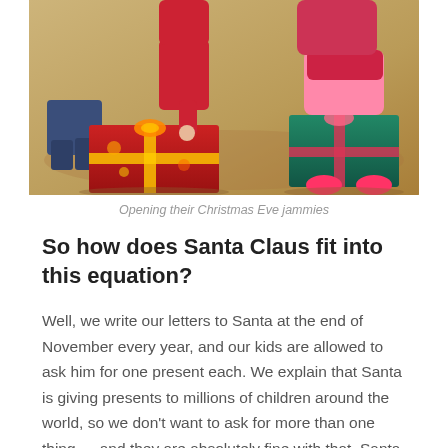[Figure (photo): Children opening Christmas Eve pajamas, lying on the floor with wrapped presents in colorful holiday paper]
Opening their Christmas Eve jammies
So how does Santa Claus fit into this equation?
Well, we write our letters to Santa at the end of November every year, and our kids are allowed to ask him for one present each. We explain that Santa is giving presents to millions of children around the world, so we don't want to ask for more than one thing — and they are absolutely fine with that. Santa also fills a stocking for each of them, and it contains mostly practical items like toothpaste, hair clips, socks and undies — as well as a few treats.